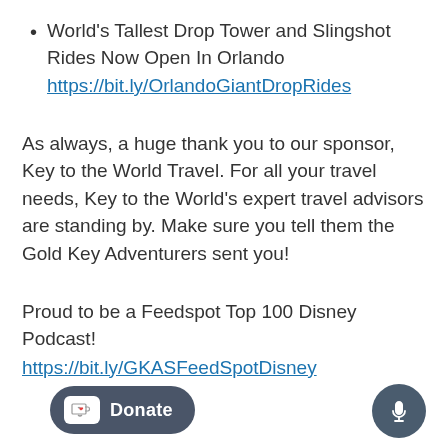World's Tallest Drop Tower and Slingshot Rides Now Open In Orlando https://bit.ly/OrlandoGiantDropRides
As always, a huge thank you to our sponsor, Key to the World Travel. For all your travel needs, Key to the World's expert travel advisors are standing by. Make sure you tell them the Gold Key Adventurers sent you!
Proud to be a Feedspot Top 100 Disney Podcast! https://bit.ly/GKASFeedSpotDisney